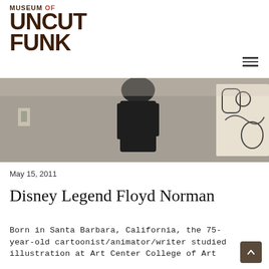MUSEUM OF UNCUT FUNK
[Figure (photo): Black and white photo of a person (back view) standing in front of illustrated artwork panels]
May 15, 2011
Disney Legend Floyd Norman
Born in Santa Barbara, California, the 75-year-old cartoonist/animator/writer studied illustration at Art Center College of Art